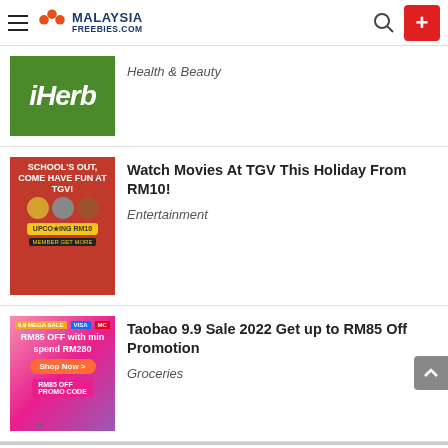Malaysia Freebies .com
[Figure (screenshot): iHerb green logo thumbnail]
Health & Beauty
[Figure (screenshot): TGV Schools Out promotion banner thumbnail]
Watch Movies At TGV This Holiday From RM10!
Entertainment
[Figure (screenshot): Taobao 9.9 Sale RM85 off promotion thumbnail]
Taobao 9.9 Sale 2022 Get up to RM85 Off Promotion
Groceries
[Figure (screenshot): Topgolf advertisement banner - Perfect activity for everyone]